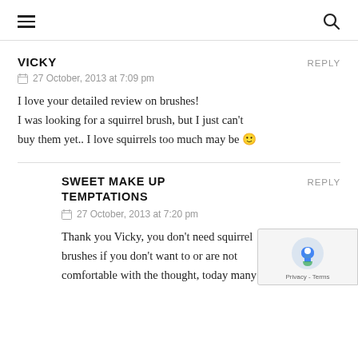Navigation header with hamburger menu and search icon
VICKY
27 October, 2013 at 7:09 pm
I love your detailed review on brushes!
I was looking for a squirrel brush, but I just can't buy them yet.. I love squirrels too much may be 🙂
SWEET MAKE UP TEMPTATIONS
27 October, 2013 at 7:20 pm
Thank you Vicky, you don't need squirrel brushes if you don't want to or are not comfortable with the thought, today many